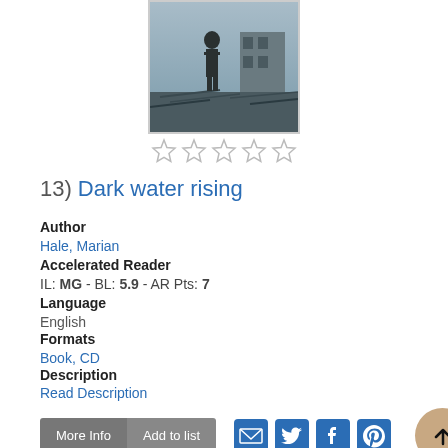[Figure (photo): Book cover image for 'Dark water rising' showing a black and white photograph of a person standing in flood debris with damaged buildings in background]
[Figure (other): Five empty star rating icons]
13) Dark water rising
Author
Hale, Marian
Accelerated Reader
IL: MG - BL: 5.9 - AR Pts: 7
Language
English
Formats
Book, CD
Description
Read Description
[Figure (other): Action buttons: More Info, Add to list, email icon, Twitter icon, Facebook icon, Pinterest icon, and scroll-to-top button]
[Figure (photo): Bottom of next book cover showing dark navy background, partially visible]